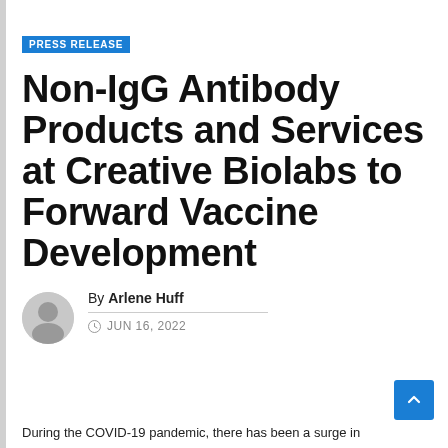PRESS RELEASE
Non-IgG Antibody Products and Services at Creative Biolabs to Forward Vaccine Development
By Arlene Huff
JUN 16, 2022
During the COVID-19 pandemic, there has been a surge in...